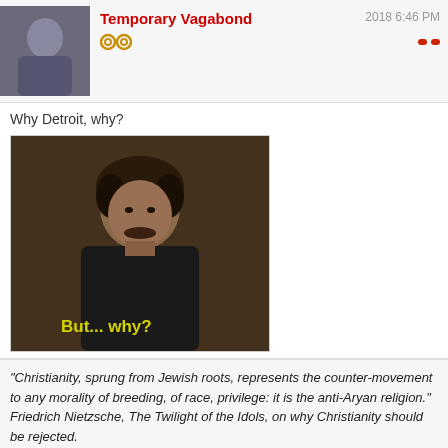Temporary Vagabond  2018 6:46 PM
Why Detroit, why?
[Figure (photo): Meme image of a man with curly hair and mustache wearing a black shirt, with yellow text overlay reading 'But... why?']
“Christianity, sprung from Jewish roots, represents the counter-movement to any morality of breeding, of race, privilege: it is the anti-Aryan religion.” Friedrich Nietzsche, The Twilight of the Idols, on why Christianity should be rejected.
[Figure (other): Steam and Xbox icons/badges]
gorion333